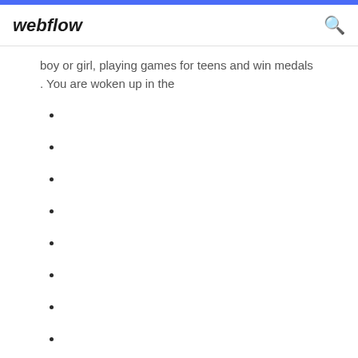webflow
boy or girl, playing games for teens and win medals . You are woken up in the